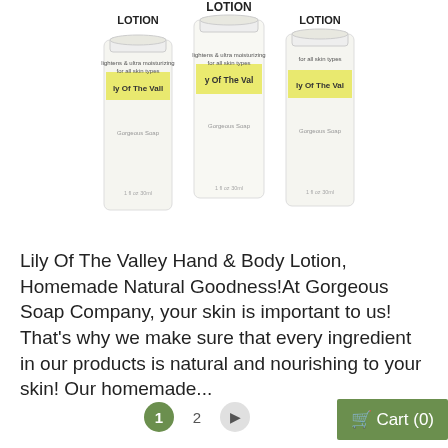[Figure (photo): Three white lotion bottles with yellow and black labels reading 'LOTION' and 'Lily Of The Valley', arranged side by side]
Lily Of The Valley Hand & Body Lotion, Homemade Natural Goodness!At Gorgeous Soap Company, your skin is important to us! That's why we make sure that every ingredient in our products is natural and nourishing to your skin! Our homemade...
Click here for details
ADD TO CART
1  2  ▶  Cart (0)